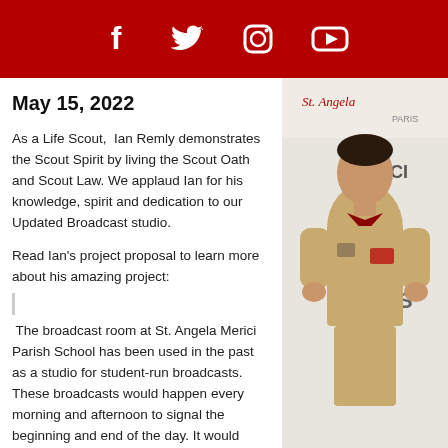Facebook Twitter Instagram YouTube
May 15, 2022
As a Life Scout,  Ian Remly demonstrates the Scout Spirit by living the Scout Oath and Scout Law. We applaud Ian for his knowledge, spirit and dedication to our Updated Broadcast studio.
Read Ian's project proposal to learn more about his amazing project:
[Figure (photo): A young man in a Boy Scout uniform standing in front of a St. Angela Merici Parish school backdrop]
The broadcast room at St. Angela Merici Parish School has been used in the past as a studio for student-run broadcasts. These broadcasts would happen every morning and afternoon to signal the beginning and end of the day. It would consist of broadcasting news or updates about the and a recording of them was uploaded to youtube. Due to staff layo